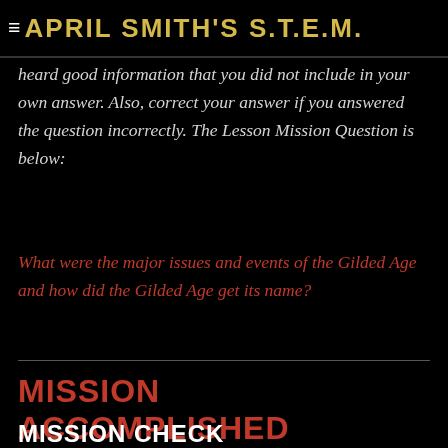APRIL SMITH'S S.T.E.M.
heard good information that you did not include in your own answer.  Also, correct your answer if you answered the question incorrectly.  The Lesson Mission Question is below:
What were the major issues and events of the Gilded Age and how did the Gilded Age get its name?
MISSION ACCOMPLISHED
MISSION CHECK